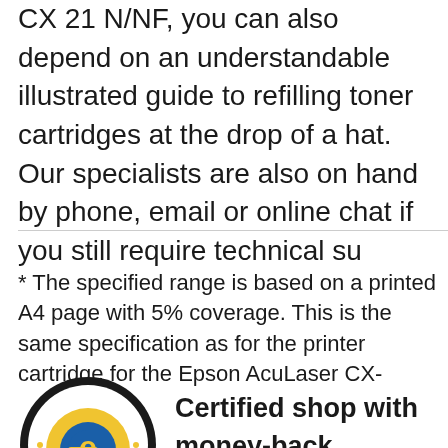CX 21 N/NF, you can also depend on an understandable illustrated guide to refilling toner cartridges at the drop of a hat. Our specialists are also on hand by phone, email or online chat if you still require technical su...
* The specified range is based on a printed A4 page with 5% coverage. This is the same specification as for the original printer cartridge for the Epson AcuLaser CX-...
[Figure (logo): Trusted Shops certified logo — circular badge with dark border, 'TRUSTED SHOPS' text around top arc, stylized 'e' letter in blue/yellow in centre, 'RUSTED' and shop text visible]
Certified shop with money-back guarantee.